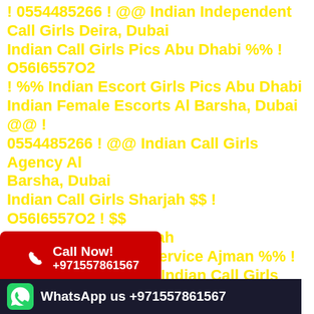! 0554485266 ! @@ Indian Independent Call Girls Deira, Dubai
Indian Call Girls Pics Abu Dhabi %% ! O56I6557O2 ! %% Indian Escort Girls Pics Abu Dhabi
Indian Female Escorts Al Barsha, Dubai @@ ! 0554485266 ! @@ Indian Call Girls Agency Al Barsha, Dubai
Indian Call Girls Sharjah $$ ! O56I6557O2 ! $$ Indian Escorts Sharjah
Indian Escorts Girl Service Ajman %% !
Indian Call Girls Ajman
rl Service Ajman %% ! O56I6557O2 ! %% Indian Call Girls Ajman
[Figure (infographic): Red call now badge with phone icon showing +971557861567]
[Figure (infographic): Dark WhatsApp bar at bottom showing WhatsApp us +971557861567]